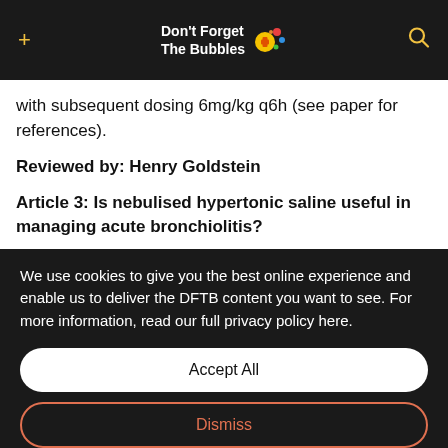Don't Forget The Bubbles
with subsequent dosing 6mg/kg q6h (see paper for references).
Reviewed by: Henry Goldstein
Article 3: Is nebulised hypertonic saline useful in managing acute bronchiolitis?
We use cookies to give you the best online experience and enable us to deliver the DFTB content you want to see. For more information, read our full privacy policy here.
Accept All
Dismiss